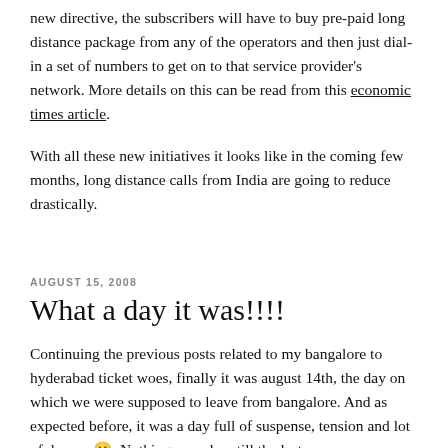new directive, the subscribers will have to buy pre-paid long distance package from any of the operators and then just dial-in a set of numbers to get on to that service provider's network. More details on this can be read from this economic times article.
With all these new initiatives it looks like in the coming few months, long distance calls from India are going to reduce drastically.
AUGUST 15, 2008
What a day it was!!!!
Continuing the previous posts related to my bangalore to hyderabad ticket woes, finally it was august 14th, the day on which we were supposed to leave from bangalore. And as expected before, it was a day full of suspense, tension and lot of drama. 🙂 Nothing was clear till the last